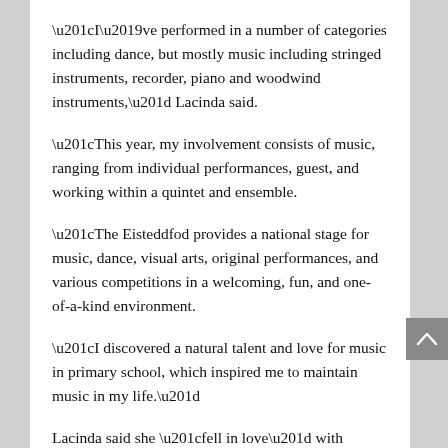“I’ve performed in a number of categories including dance, but mostly music including stringed instruments, recorder, piano and woodwind instruments,” Lacinda said.
“This year, my involvement consists of music, ranging from individual performances, guest, and working within a quintet and ensemble.
“The Eisteddfod provides a national stage for music, dance, visual arts, original performances, and various competitions in a welcoming, fun, and one-of-a-kind environment.
“I discovered a natural talent and love for music in primary school, which inspired me to maintain music in my life.”
Lacinda said she “fell in love” with performing at the